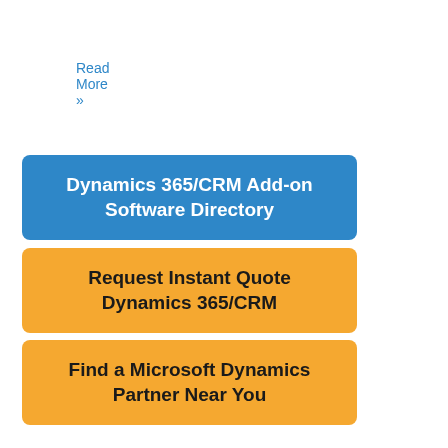Read More »
[Figure (other): Blue button labeled 'Dynamics 365/CRM Add-on Software Directory']
[Figure (other): Orange button labeled 'Request Instant Quote Dynamics 365/CRM']
[Figure (other): Orange button labeled 'Find a Microsoft Dynamics Partner Near You']